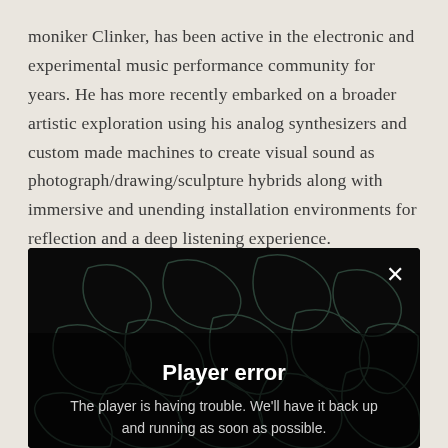moniker Clinker, has been active in the electronic and experimental music performance community for years. He has more recently embarked on a broader artistic exploration using his analog synthesizers and custom made machines to create visual sound as photograph/drawing/sculpture hybrids along with immersive and unending installation environments for reflection and a deep listening experience.
[Figure (screenshot): A video player showing a dark background with glowing organic line patterns. An error overlay reads 'Player error' in bold white text and 'The player is having trouble. We'll have it back up and running as soon as possible.' A white X close button appears in the top right corner.]